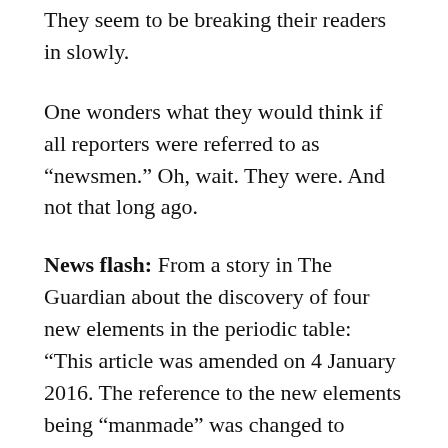They seem to be breaking their readers in slowly.
One wonders what they would think if all reporters were referred to as “newsmen.” Oh, wait. They were. And not that long ago.
News flash: From a story in The Guardian about the discovery of four new elements in the periodic table: “This article was amended on 4 January 2016. The reference to the new elements being “manmade” was changed to “synthetic” to follow Guardian style guidance on the use of gender-neutral terms.”
Postscript: This essay must be updated. Some unions have changed names but most are still